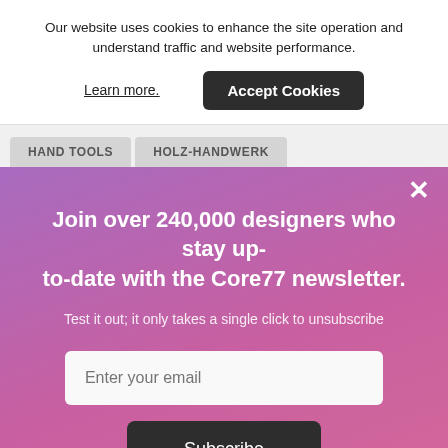Our website uses cookies to enhance the site operation and understand traffic and website performance.
Learn more.
Accept Cookies
HAND TOOLS
HOLZ-HANDWERK
×
Join over 240,000 designers who stay up-to-date with the Core77 newsletter.
Test it out; it only takes a single click to unsubscribe
Enter your email
Subscribe